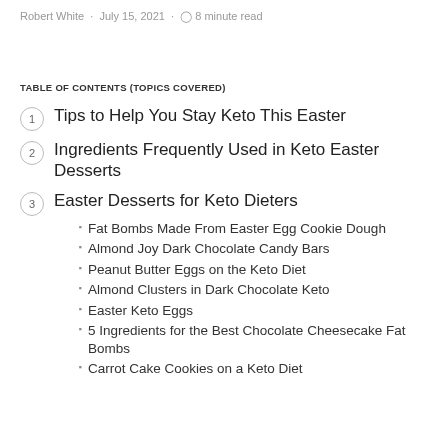Robert White · July 15, 2021 · 8 minute read
TABLE OF CONTENTS (TOPICS COVERED)
1 Tips to Help You Stay Keto This Easter
2 Ingredients Frequently Used in Keto Easter Desserts
3 Easter Desserts for Keto Dieters
Fat Bombs Made From Easter Egg Cookie Dough
Almond Joy Dark Chocolate Candy Bars
Peanut Butter Eggs on the Keto Diet
Almond Clusters in Dark Chocolate Keto
Easter Keto Eggs
5 Ingredients for the Best Chocolate Cheesecake Fat Bombs
Carrot Cake Cookies on a Keto Diet